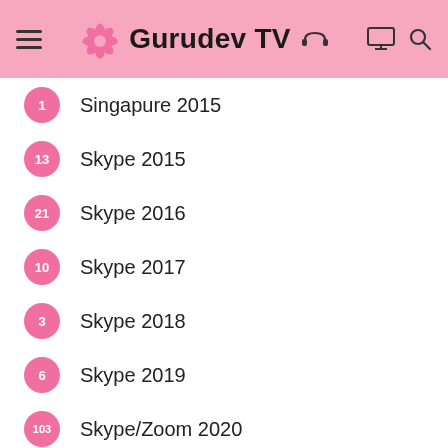Gurudev TV
1  Singapure 2015
13  Skype 2015
21  Skype 2016
10  Skype 2017
3  Skype 2018
6  Skype 2019
103  Skype/Zoom 2020
32  Skype/Zoom 2021
10  South Africa 2020
2  Srila Gurudev's Words 2021
1  Srila Gurudev's Words 2016
59  Srila Gurudev's Words 2018